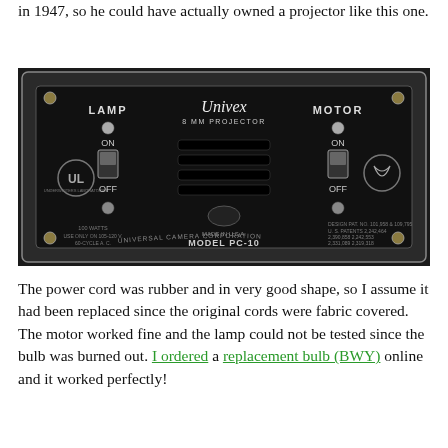in 1947, so he could have actually owned a projector like this one.
[Figure (photo): Close-up photo of the control panel of a Univex 8mm Projector (Model PC-10) made by Universal Camera Corporation. The black metal panel shows LAMP and MOTOR labels with ON/OFF toggle switches, UL certification badge, a trade mark logo, ventilation slots, and text reading: 100 WATTS, USE ONLY ON 105-120V, 60-CYCLE A.C., MODEL PC-10, MADE IN U.S.A., DESIGN PAT. NO. 101,958 & 109,795, U.S. PATENTS 2,242,464 2,390,858 2,242,553 2,331,089 2,319,318]
The power cord was rubber and in very good shape, so I assume it had been replaced since the original cords were fabric covered. The motor worked fine and the lamp could not be tested since the bulb was burned out. I ordered a replacement bulb (BWY) online and it worked perfectly!